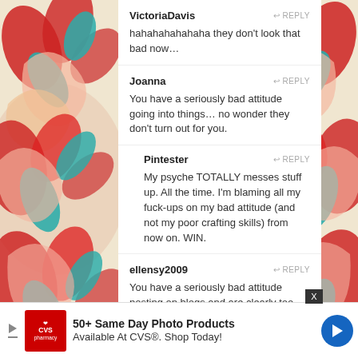[Figure (illustration): Decorative floral/swirl pattern border on left and right sides of the page in red, teal, and cream colors]
VictoriaDavis
hahahahahahaha they don't look that bad now…
Joanna
You have a seriously bad attitude going into things… no wonder they don't turn out for you.
Pintester
My psyche TOTALLY messes stuff up. All the time. I'm blaming all my fuck-ups on my bad attitude (and not my poor crafting skills) from now on. WIN.
ellensy2009
You have a seriously bad attitude posting on blogs and are clearly too negative (or intellectually challenged) to understand humor.  No wonder nobody likes you.
50+ Same Day Photo Products Available At CVS®. Shop Today!